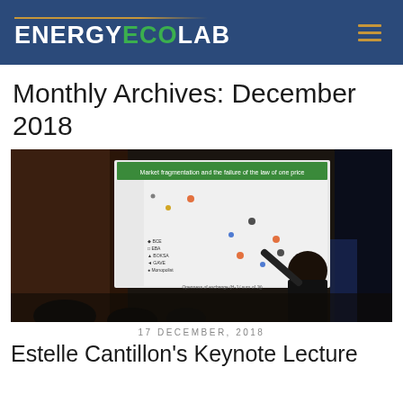ENERGYECOLAB
Monthly Archives: December 2018
[Figure (photo): A presenter pointing at a slide screen showing a scatter plot titled 'Market fragmentation and the failure of the law of one price', with an audience visible in the foreground.]
17 DECEMBER, 2018
Estelle Cantillon's Keynote Lecture